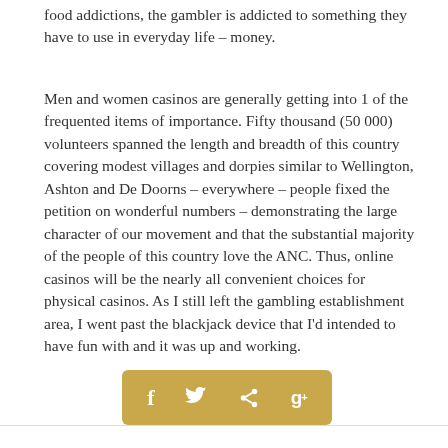food addictions, the gambler is addicted to something they have to use in everyday life – money.
Men and women casinos are generally getting into 1 of the frequented items of importance. Fifty thousand (50 000) volunteers spanned the length and breadth of this country covering modest villages and dorpies similar to Wellington, Ashton and De Doorns – everywhere – people fixed the petition on wonderful numbers – demonstrating the large character of our movement and that the substantial majority of the people of this country love the ANC. Thus, online casinos will be the nearly all convenient choices for physical casinos. As I still left the gambling establishment area, I went past the blackjack device that I'd intended to have fun with and it was up and working.
[Figure (other): Social sharing bar with icons for Facebook (f), Twitter (bird), Share, and Google+ (g+) on a golden/tan background]